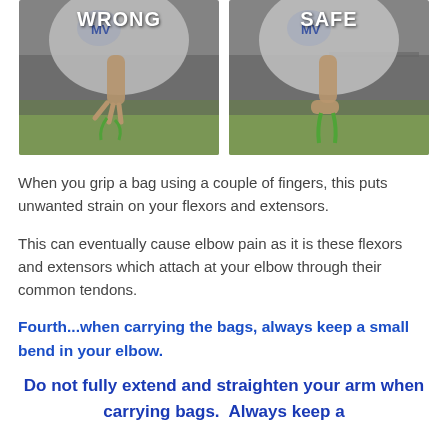[Figure (photo): Two side-by-side photos showing WRONG and SAFE ways to grip a bag. Left photo labeled WRONG shows a person gripping a green bag with a couple of fingers. Right photo labeled SAFE shows a person gripping a green bag correctly with a full hand grip.]
When you grip a bag using a couple of fingers, this puts unwanted strain on your flexors and extensors.
This can eventually cause elbow pain as it is these flexors and extensors which attach at your elbow through their common tendons.
Fourth...when carrying the bags, always keep a small bend in your elbow.
Do not fully extend and straighten your arm when carrying bags.  Always keep a